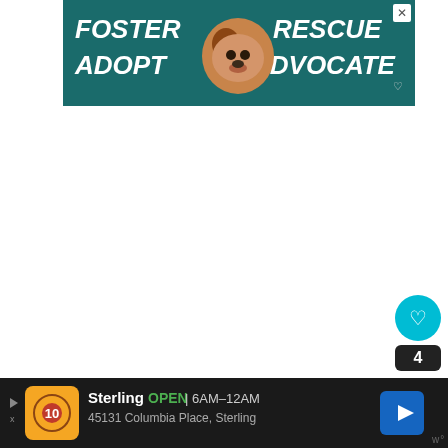[Figure (advertisement): Top banner ad with teal background showing a dog (beagle) image and text: FOSTER ADOPT RESCUE ADVOCATE with a close (X) button in top-right corner]
[Figure (other): UI social interaction buttons: heart/like button (cyan circle), count '4' (dark pill), share button (dark circle with share icon), and 'w°' watermark text]
The one I recommend is the Seagate
...a highly ra... PS4
[Figure (advertisement): Bottom local ad bar (dark background): Sterling OPEN 6AM-12AM, 45131 Columbia Place, Sterling, with orange logo, navigation arrow icon]